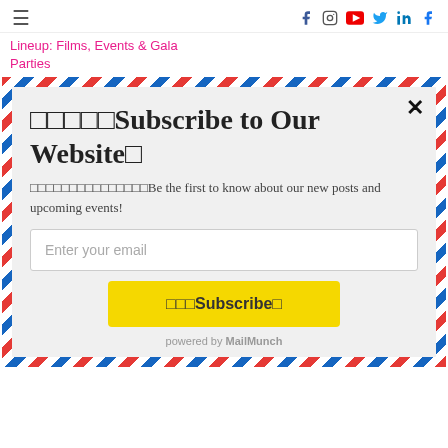☰   f  instagram  youtube  twitter  linkedin  f
Lineup: Films, Events & Gala Parties
□□□□□Subscribe to Our Website□
□□□□□□□□□□□□□□□Be the first to know about our new posts and upcoming events!
Enter your email
□□□Subscribe□
powered by MailMunch